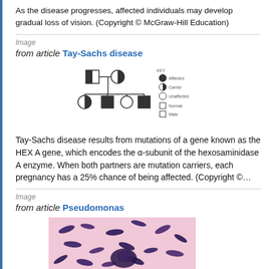As the disease progresses, affected individuals may develop gradual loss of vision. (Copyright © McGraw-Hill Education)
Image
from article Tay-Sachs disease
[Figure (other): Pedigree chart showing inheritance pattern for Tay-Sachs disease with key symbols]
Tay-Sachs disease results from mutations of a gene known as the HEX A gene, which encodes the α-subunit of the hexosaminidase A enzyme. When both partners are mutation carriers, each pregnancy has a 25% chance of being affected. (Copyright ©…
Image
from article Pseudomonas
[Figure (photo): Microscopy image showing Pseudomonas bacteria stained purple/blue against pink background]